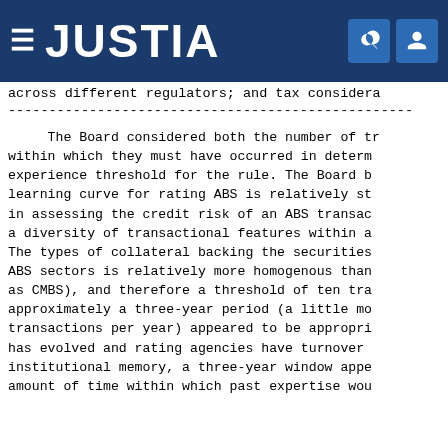JUSTIA
across different regulators; and tax considera
----------------------------------------------------
The Board considered both the number of tr within which they must have occurred in determ experience threshold for the rule. The Board b learning curve for rating ABS is relatively st in assessing the credit risk of an ABS transac a diversity of transactional features within a The types of collateral backing the securities ABS sectors is relatively more homogenous than as CMBS), and therefore a threshold of ten tra approximately a three-year period (a little mo transactions per year) appeared to be appropri has evolved and rating agencies have turnover institutional memory, a three-year window appe amount of time within which past expertise wou